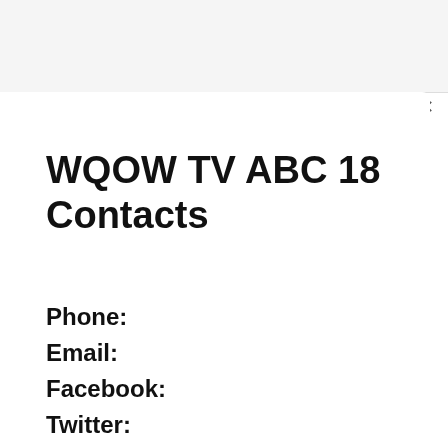WQOW TV ABC 18 Contacts
Phone:
Email:
Facebook:
Twitter:
Instagram: